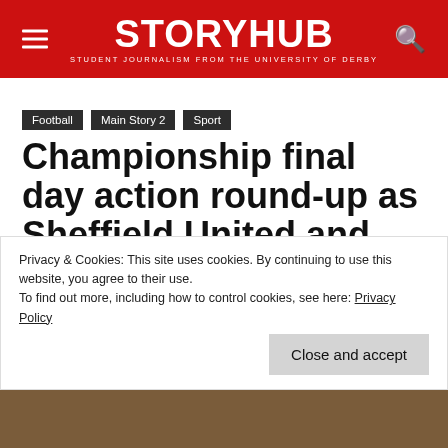StoryHub — Student Journalism from the University of Derby
Football
Main Story 2
Sport
Championship final day action round-up as Sheffield United and Luton Town secure their play-off places
Privacy & Cookies: This site uses cookies. By continuing to use this website, you agree to their use.
To find out more, including how to control cookies, see here: Privacy Policy
Close and accept